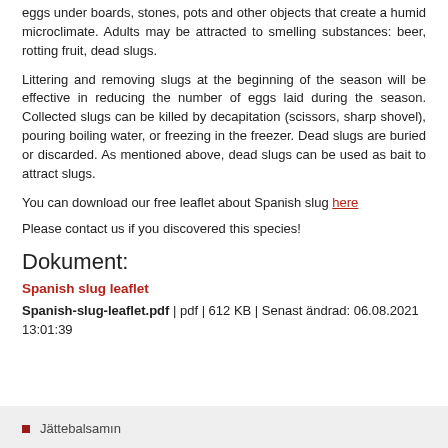eggs under boards, stones, pots and other objects that create a humid microclimate. Adults may be attracted to smelling substances: beer, rotting fruit, dead slugs.
Littering and removing slugs at the beginning of the season will be effective in reducing the number of eggs laid during the season. Collected slugs can be killed by decapitation (scissors, sharp shovel), pouring boiling water, or freezing in the freezer. Dead slugs are buried or discarded. As mentioned above, dead slugs can be used as bait to attract slugs.
You can download our free leaflet about Spanish slug here
Please contact us if you discovered this species!
Dokument:
Spanish slug leaflet
Spanish-slug-leaflet.pdf | pdf | 612 KB | Senast ändrad: 06.08.2021 13:01:39
Jättebalsamın